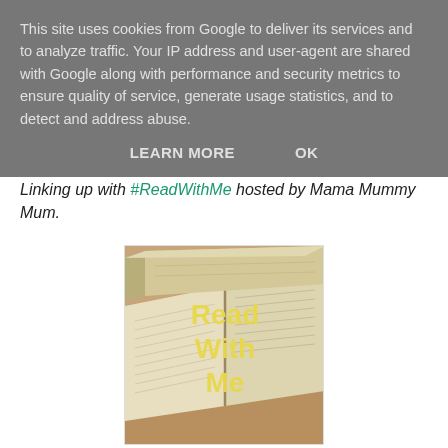This site uses cookies from Google to deliver its services and to analyze traffic. Your IP address and user-agent are shared with Google along with performance and security metrics to ensure quality of service, generate usage statistics, and to detect and address abuse.
LEARN MORE   OK
Linking up with #ReadWithMe hosted by Mama Mummy Mum.
[Figure (photo): Photo of open books stacked, with yellow text overlay reading 'Read With Me' — the logo/badge for the #ReadWithMe link-up hosted by Mama Mummy Mum.]